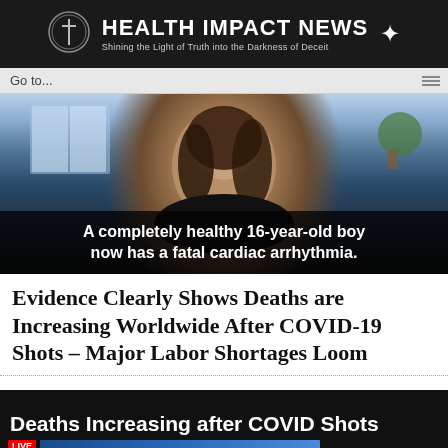HEALTH IMPACT NEWS — Shining the Light of Truth into the Darkness of Deceit
Go to...
[Figure (photo): Woman with dark curly hair sitting at a desk. Video caption reads: A completely healthy 16-year-old boy now has a fatal cardiac arrhythmia.]
Evidence Clearly Shows Deaths are Increasing Worldwide After COVID-19 Shots – Major Labor Shortages Loom
[Figure (screenshot): Video thumbnail with black background and white bold text reading: Deaths Increasing after COVID Shots. LIVE news banner at bottom.]